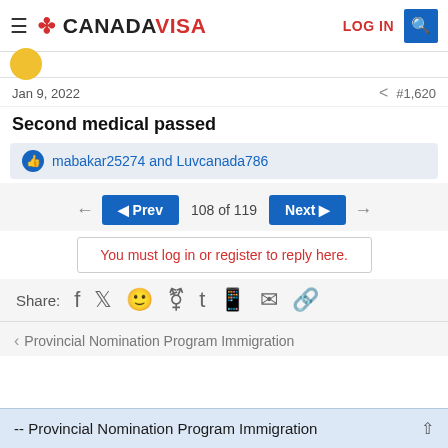CANADAVISA | LOG IN
Jan 9, 2022  #1,620
Second medical passed
mabakar25274 and Luvcanada786
◄ Prev  108 of 119  Next ►
You must log in or register to reply here.
Share:
‹ Provincial Nomination Program Immigration
-- Provincial Nomination Program Immigration